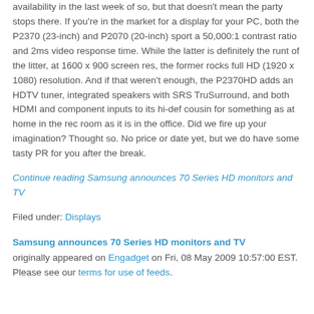availability in the last week of so, but that doesn't mean the party stops there. If you're in the market for a display for your PC, both the P2370 (23-inch) and P2070 (20-inch) sport a 50,000:1 contrast ratio and 2ms video response time. While the latter is definitely the runt of the litter, at 1600 x 900 screen res, the former rocks full HD (1920 x 1080) resolution. And if that weren't enough, the P2370HD adds an HDTV tuner, integrated speakers with SRS TruSurround, and both HDMI and component inputs to its hi-def cousin for something as at home in the rec room as it is in the office. Did we fire up your imagination? Thought so. No price or date yet, but we do have some tasty PR for you after the break.
Continue reading Samsung announces 70 Series HD monitors and TV
Filed under: Displays
Samsung announces 70 Series HD monitors and TV originally appeared on Engadget on Fri, 08 May 2009 10:57:00 EST. Please see our terms for use of feeds.